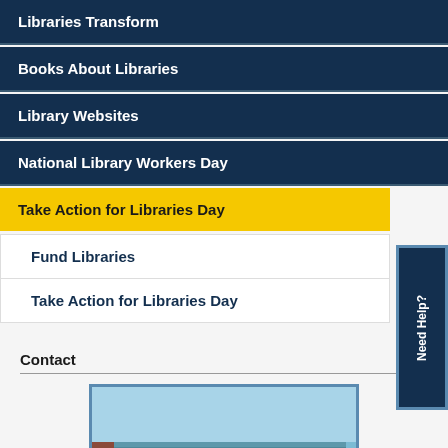Libraries Transform
Books About Libraries
Library Websites
National Library Workers Day
Take Action for Libraries Day
Fund Libraries
Take Action for Libraries Day
Need Help?
Contact
[Figure (photo): Exterior of a modern glass and steel library building with curved white structural arches, blue sky background]